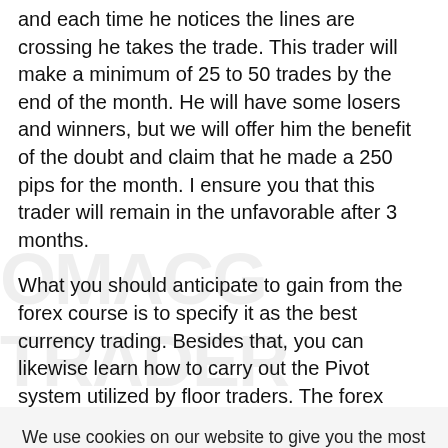and each time he notices the lines are crossing he takes the trade. This trader will make a minimum of 25 to 50 trades by the end of the month. He will have some losers and winners, but we will offer him the benefit of the doubt and claim that he made a 250 pips for the month. I ensure you that this trader will remain in the unfavorable after 3 months.
What you should anticipate to gain from the forex course is to specify it as the best currency trading. Besides that, you can likewise learn how to carry out the Pivot system utilized by floor traders. The forex market is so dynamic and fast-paced, that in some cases you only
We use cookies on our website to give you the most relevant experience by remembering your preferences and repeat visits. By clicking "Accept All", you consent to the use of ALL the cookies. However, you may visit "Cookie Settings" to provide a controlled consent.